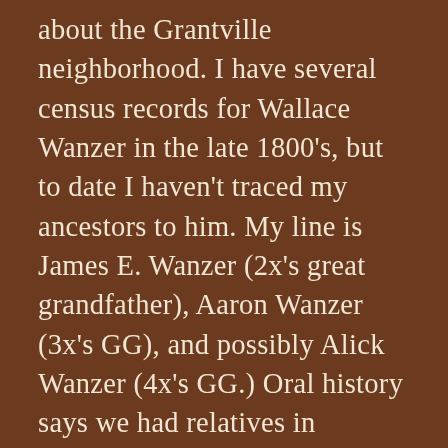about the Grantville neighborhood. I have several census records for Wallace Wanzer in the late 1800's, but to date I haven't traced my ancestors to him. My line is James E. Wanzer (2x's great grandfather), Aaron Wanzer (3x's GG), and possibly Alick Wanzer (4x's GG.) Oral history says we had relatives in Alexandria that my family visited in the early 1900's, census/death certificate records show relatives in Admondsville, VA (?) and Catalpa (plantation?) Culpeper in the mid-late 1800's. I appreciate the information you provided and I will be on the look out for connections to Wallace Wanzer. It's amazing how these names circle around, I